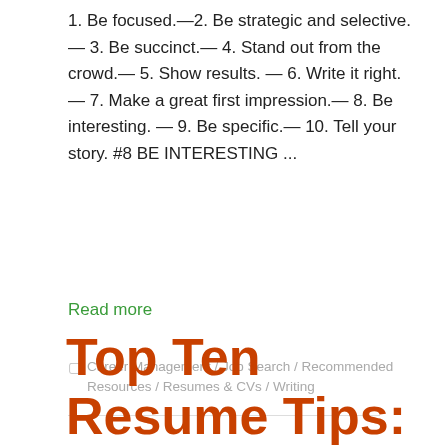1. Be focused.—2. Be strategic and selective.— 3. Be succinct.— 4. Stand out from the crowd.— 5. Show results. — 6. Write it right.— 7. Make a great first impression.— 8. Be interesting. — 9. Be specific.— 10. Tell your story. #8 BE INTERESTING ...
Read more
Career Management / Job Search / Recommended Resources / Resumes & CVs / Writing
Top Ten Resume Tips: #7—Make a Great First Impression